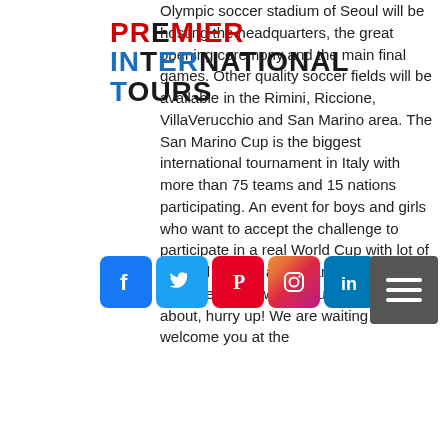[Figure (logo): Premier International Tours logo with colored letters stacked in three lines: PREMIER, INTERNATIONAL, TOURS]
Olympic soccer stadium of Seoul will be hosting the headquarters, the great opening ceremony and the main final games. Other quality soccer fields will be available in the Rimini, Riccione, VillaVerucchio and San Marino area. The San Marino Cup is the biggest international tournament in Italy with more than 75 teams and 15 nations participating. An event for boys and girls who want to accept the challenge to participate in a real World Cup with lot of fun and soccer, a tournament where it will not be easy to win. If you are still thinking about, hurry up! We are waiting to welcome you at the
[Figure (infographic): Social media icons row: Facebook, Twitter, Pinterest, Instagram, LinkedIn]
[Figure (infographic): Hamburger menu button (three horizontal lines on grey background)]